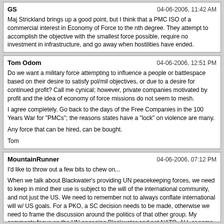GS | 04-06-2006, 11:42 AM
Maj Strickland brings up a good point, but I think that a PMC ISO of a commercial interest in Economy of Force to the nth degree. They attempt to accomplish the objective with the smallest force possible, require no investment in infrastructure, and go away when hostilities have ended.
Tom Odom | 04-06-2006, 12:51 PM
Do we want a military force attempting to influence a people or battlespace based on their desire to satisfy pol/mil objectives, or due to a desire for continued profit? Call me cynical; however, private companies motivated by profit and the idea of economy of force missions do not seem to mesh.

I agree completely. Go back to the days of the Free Companies in the 100 Years War for "PMCs"; the reasons states have a "lock" on violence are many.

Any force that can be hired, can be bought.

Tom
MountainRunner | 04-06-2006, 07:12 PM
I'd like to throw out a few bits to chew on...

When we talk about Blackwater's providing UN peacekeeping forces, we need to keep in mind their use is subject to the will of the international community, and not just the US. We need to remember not to always conflate international will w/ US goals. For a PKO, a SC decision needs to be made, otherwise we need to frame the discussion around the politics of that other group. My comments focus on the UN engaging Blackwater and not NATO, AU, or some ad hoc coalition, let alone solo state commission.

I suggest we consider what I see in the mercenarial concept of present-day's...